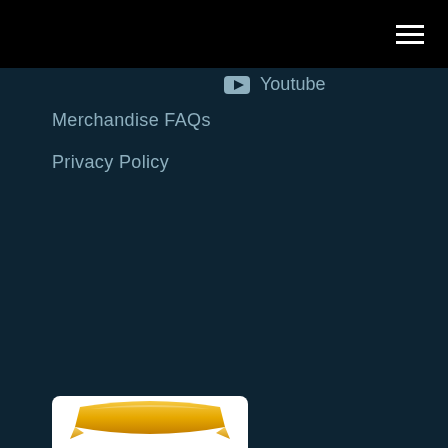Youtube
Merchandise FAQs
Privacy Policy
[Figure (logo): Award badge or ribbon logo with gold/yellow ribbon at bottom of page]